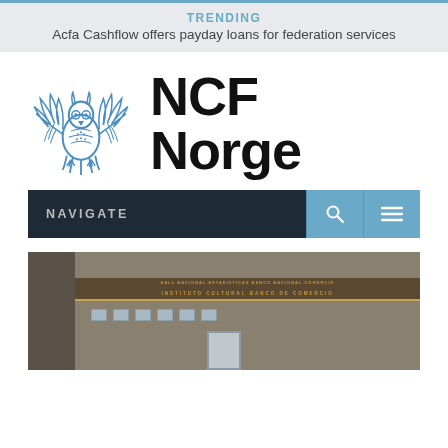TRENDING
Acfa Cashflow offers payday loans for federation services
[Figure (logo): NCF Norge logo with blue heraldic eagle/owl and bold text 'NCF Norge']
NAVIGATE
[Figure (photo): Photograph of a building exterior, appears to be a financial institution with stone facade and signage]